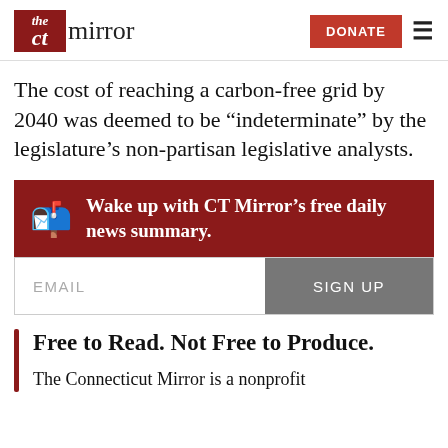CT Mirror | DONATE
The cost of reaching a carbon-free grid by 2040 was deemed to be “indeterminate” by the legislature’s non-partisan legislative analysts.
Wake up with CT Mirror’s free daily news summary.
EMAIL | SIGN UP
Free to Read. Not Free to Produce.
The Connecticut Mirror is a nonprofit